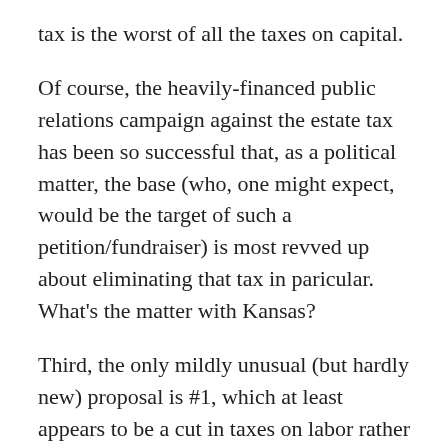tax is the worst of all the taxes on capital.
Of course, the heavily-financed public relations campaign against the estate tax has been so successful that, as a political matter, the base (who, one might expect, would be the target of such a petition/fundraiser) is most revved up about eliminating that tax in paricular. What's the matter with Kansas?
Third, the only mildly unusual (but hardly new) proposal is #1, which at least appears to be a cut in taxes on labor rather than capital. Of course, after describing this tax proposal as a "take home pay raise" for all workers -- yet inexplicably and arbitrarily limiting the cut in this tax to two years, rather than a permanent reduction or outright repeal -- Gingrich's group then describes the proposal as a business tax cut: "This would also immediately increase the liquidity of every small